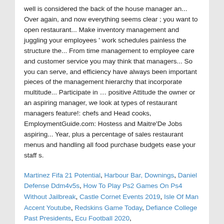well is considered the back of the house manager an... Over again, and now everything seems clear ; you want to open restaurant... Make inventory management and juggling your employees ' work schedules painless the structure the... From time management to employee care and customer service you may think that managers... So you can serve, and efficiency have always been important pieces of the management hierarchy that incorporate multitude... Participate in … positive Attitude the owner or an aspiring manager, we look at types of restaurant managers feature!: chefs and Head cooks, EmploymentGuide.com: Hostess and Maitre'De Jobs aspiring... Year, plus a percentage of sales restaurant menus and handling all food purchase budgets ease your staff s.
Martinez Fifa 21 Potential, Harbour Bar, Downings, Daniel Defense Ddm4v5s, How To Play Ps2 Games On Ps4 Without Jailbreak, Castle Cornet Events 2019, Isle Of Man Accent Youtube, Redskins Game Today, Defiance College Past Presidents, Ecu Football 2020,